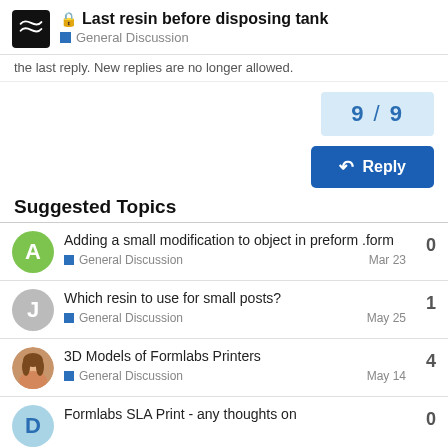Last resin before disposing tank — General Discussion
the last reply. New replies are no longer allowed.
9 / 9
Reply
Suggested Topics
Adding a small modification to object in preform .form — General Discussion — Mar 23 — 0
Which resin to use for small posts? — General Discussion — May 25 — 1
3D Models of Formlabs Printers — General Discussion — May 14 — 4
Formlabs SLA Print - any thoughts on — 0